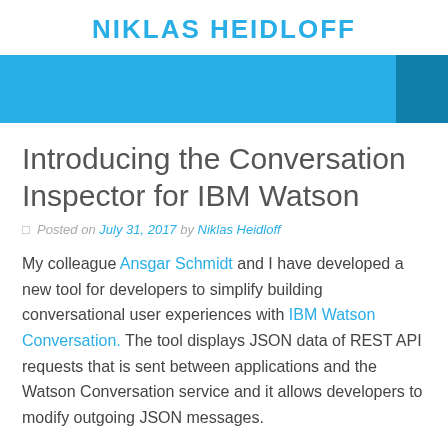NIKLAS HEIDLOFF
[Figure (other): Blue banner with a darker blue rectangle on the right side]
Introducing the Conversation Inspector for IBM Watson
Posted on July 31, 2017 by Niklas Heidloff
My colleague Ansgar Schmidt and I have developed a new tool for developers to simplify building conversational user experiences with IBM Watson Conversation. The tool displays JSON data of REST API requests that is sent between applications and the Watson Conversation service and it allows developers to modify outgoing JSON messages.